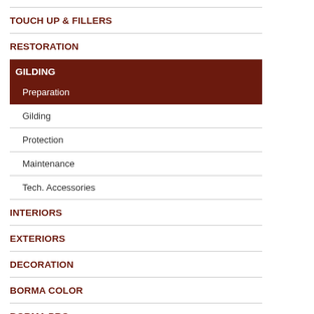TOUCH UP & FILLERS
RESTORATION
GILDING
Preparation
Gilding
Protection
Maintenance
Tech. Accessories
INTERIORS
EXTERIORS
DECORATION
BORMA COLOR
BORMA PRO